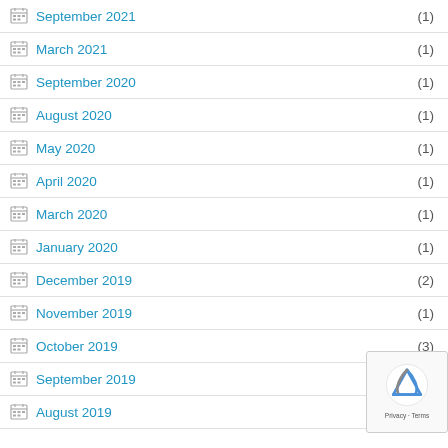September 2021 (1)
March 2021 (1)
September 2020 (1)
August 2020 (1)
May 2020 (1)
April 2020 (1)
March 2020 (1)
January 2020 (1)
December 2019 (2)
November 2019 (1)
October 2019 (3)
September 2019
August 2019 (1)